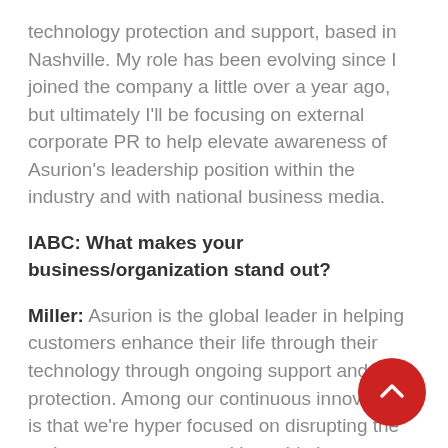technology protection and support, based in Nashville. My role has been evolving since I joined the company a little over a year ago, but ultimately I'll be focusing on external corporate PR to help elevate awareness of Asurion's leadership position within the industry and with national business media.
IABC: What makes your business/organization stand out?
Miller: Asurion is the global leader in helping customers enhance their life through their technology through ongoing support and protection. Among our continuous innovation is that we're hyper focused on disrupting the tech support category with world-class customer experience by providing instant access to experts to help solve any tech issue with an Asurion covered device. There's no waiting on